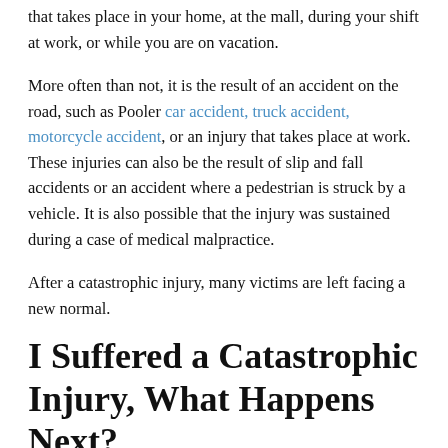that takes place in your home, at the mall, during your shift at work, or while you are on vacation.
More often than not, it is the result of an accident on the road, such as Pooler car accident, truck accident, motorcycle accident, or an injury that takes place at work. These injuries can also be the result of slip and fall accidents or an accident where a pedestrian is struck by a vehicle. It is also possible that the injury was sustained during a case of medical malpractice.
After a catastrophic injury, many victims are left facing a new normal.
I Suffered a Catastrophic Injury, What Happens Next?
There is nothing easy about catastrophic injuries. From the financial burden that you will face to the pain and suffering that you are dealing with, it can feel like